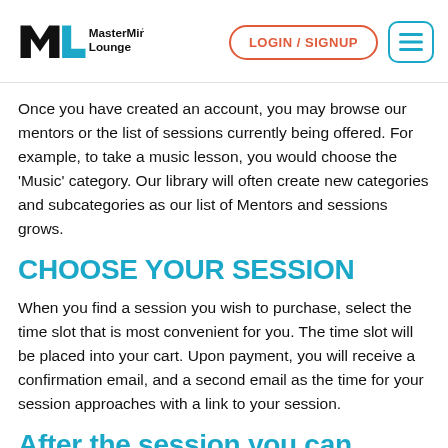MasterMind™ Lounge | LOGIN / SIGNUP | menu
Once you have created an account, you may browse our mentors or the list of sessions currently being offered. For example, to take a music lesson, you would choose the 'Music' category. Our library will often create new categories and subcategories as our list of Mentors and sessions grows.
CHOOSE YOUR SESSION
When you find a session you wish to purchase, select the time slot that is most convenient for you. The time slot will be placed into your cart. Upon payment, you will receive a confirmation email, and a second email as the time for your session approaches with a link to your session.
After the session you can...